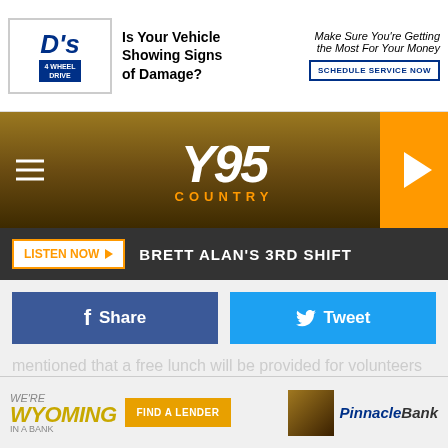[Figure (screenshot): Top advertisement banner for D's 4 Wheel Drive service with text 'Is Your Vehicle Showing Signs of Damage? Make Sure You're Getting the Most For Your Money' and a 'SCHEDULE SERVICE NOW' button]
[Figure (logo): Y95 Country radio station navigation bar with hamburger menu, Y95 COUNTRY logo in white and orange, and orange play button on right]
LISTEN NOW ▶  BRETT ALAN'S 3RD SHIFT
[Figure (infographic): Social sharing buttons: blue Facebook Share button and light blue Twitter Tweet button]
mentioned that a free lunch will be provided for volunteers after the collection is over.
If you happen to miss Saturday's pickup, don't fret! Christmas trees are considered green waste and as such, can be dropped off for free at the Laramie Landfill during their regular operating hours, which are 8 a.m.-4:30 p.m. Monday
[Figure (infographic): Bottom advertisement for Wyoming In A Bank featuring Pinnacle Bank with 'FIND A LENDER' button]